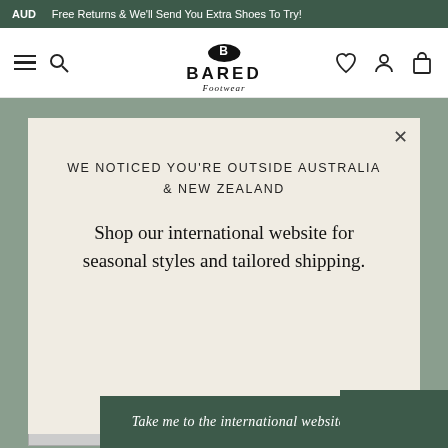AUD   Free Returns & We'll Send You Extra Shoes To Try!
[Figure (logo): Bared Footwear logo with hat icon, brand name BARED and italic subtitle 'Footwear']
WE NOTICED YOU'RE OUTSIDE AUSTRALIA & NEW ZEALAND
Shop our international website for seasonal styles and tailored shipping.
Take me to the international website!